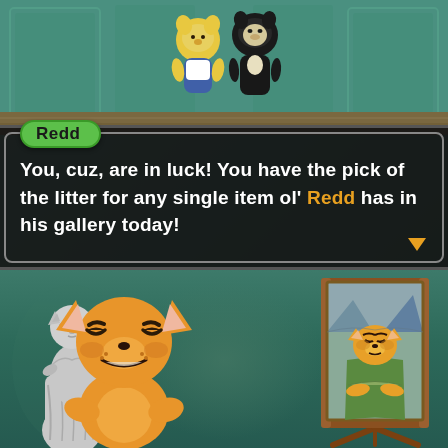[Figure (screenshot): Animal Crossing game screenshot showing Redd the fox merchant character with dialog box. Top half shows game scene with two characters in a teal gallery room with patterned floor. A dialog bubble from Redd reads: 'You, cuz, are in luck! You have the pick of the litter for any single item ol' Redd has in his gallery today!' with Redd's name in an orange/gold color. Bottom half shows a fanart/meme illustration of three items from Redd's gallery: a gray statue parody of Venus de Milo on the left, a large orange fox character (Redd) in the center with squinting eyes and a grin, and a painting parody of the Mona Lisa featuring the fox on an easel on the right. Background is dark teal/green.]